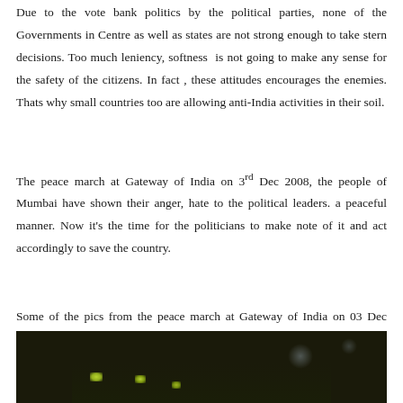Due to the vote bank politics by the political parties, none of the Governments in Centre as well as states are not strong enough to take stern decisions. Too much leniency, softness is not going to make any sense for the safety of the citizens. In fact , these attitudes encourages the enemies. Thats why small countries too are allowing anti-India activities in their soil.
The peace march at Gateway of India on 3rd Dec 2008, the people of Mumbai have shown their anger, hate to the political leaders. a peaceful manner. Now it's the time for the politicians to make note of it and act accordingly to save the country.
Some of the pics from the peace march at Gateway of India on 03 Dec 2008.
[Figure (photo): A dark nighttime photograph showing plants or candles with small greenish-yellow glowing lights in the foreground against a very dark background, with faint circular light orbs visible in the upper right area.]